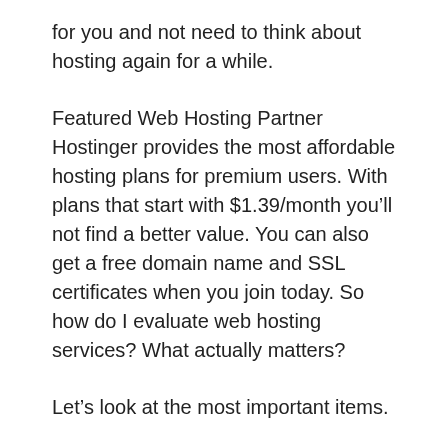for you and not need to think about hosting again for a while.
Featured Web Hosting Partner Hostinger provides the most affordable hosting plans for premium users. With plans that start with $1.39/month you’ll not find a better value. You can also get a free domain name and SSL certificates when you join today. So how do I evaluate web hosting services? What actually matters?
Let’s look at the most important items.